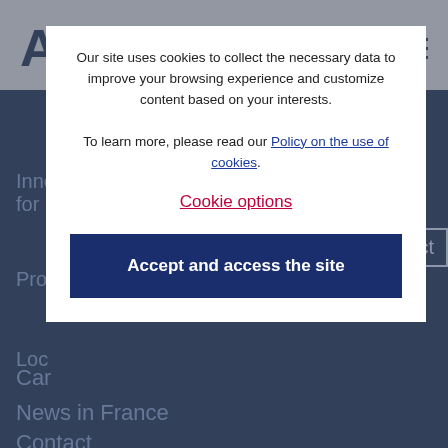Our site uses cookies to collect the necessary data to improve your browsing experience and customize content based on your interests.

To learn more, please read our Policy on the use of cookies.
Cookie options
Accept and access the site
Inno
for
Pro
Loc
Car
News in France
Contact